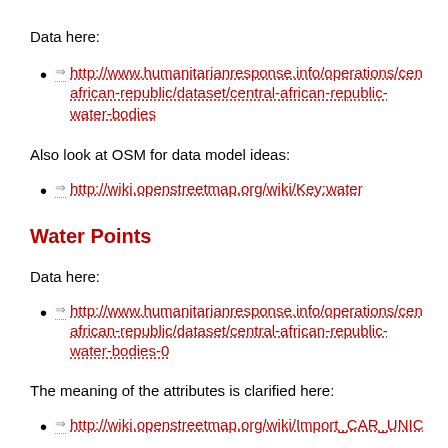Data here:
http://www.humanitarianresponse.info/operations/central-african-republic/dataset/central-african-republic-water-bodies
Also look at OSM for data model ideas:
http://wiki.openstreetmap.org/wiki/Key:water
Water Points
Data here:
http://www.humanitarianresponse.info/operations/central-african-republic/dataset/central-african-republic-water-bodies-0
The meaning of the attributes is clarified here:
http://wiki.openstreetmap.org/wiki/Import_CAR_UNIC